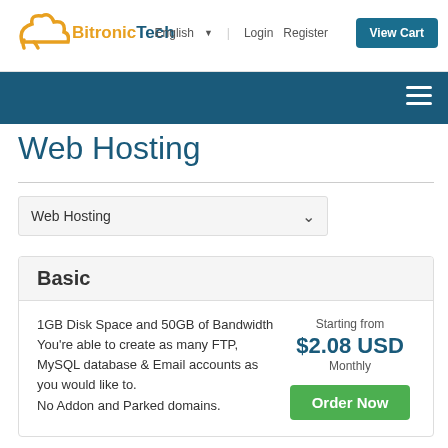BitronicTech | English | Login | Register | View Cart
Web Hosting
Web Hosting (dropdown)
Basic
1GB Disk Space and 50GB of Bandwidth
You're able to create as many FTP, MySQL database & Email accounts as you would like to.
No Addon and Parked domains.
Starting from
$2.08 USD
Monthly
Order Now